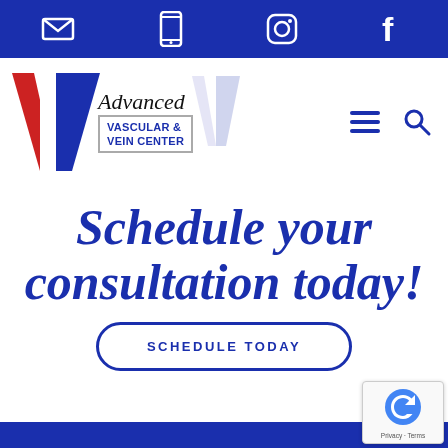Top navigation bar with email, phone, Instagram, and Facebook icons
[Figure (logo): Advanced Vascular & Vein Center logo with red and blue V shape and script text]
Schedule your consultation today!
SCHEDULE TODAY
Blue footer bar